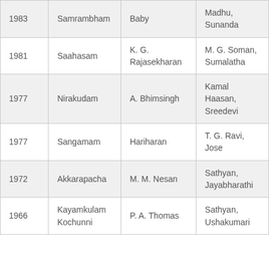| 1983 | Samrambham | Baby | Madhu, Sunanda |
| 1981 | Saahasam | K. G. Rajasekharan | M. G. Soman, Sumalatha |
| 1977 | Nirakudam | A. Bhimsingh | Kamal Haasan, Sreedevi |
| 1977 | Sangamam | Hariharan | T. G. Ravi, Jose |
| 1972 | Akkarapacha | M. M. Nesan | Sathyan, Jayabharathi |
| 1966 | Kayamkulam Kochunni | P. A. Thomas | Sathyan, Ushakumari |